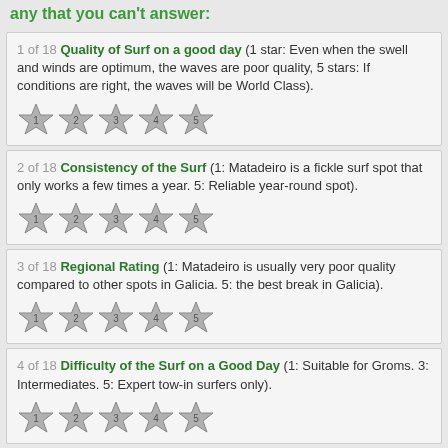any that you can't answer:
1 of 18 Quality of Surf on a good day (1 star: Even when the swell and winds are optimum, the waves are poor quality, 5 stars: If conditions are right, the waves will be World Class).
2 of 18 Consistency of the Surf (1: Matadeiro is a fickle surf spot that only works a few times a year. 5: Reliable year-round spot).
3 of 18 Regional Rating (1: Matadeiro is usually very poor quality compared to other spots in Galicia. 5: the best break in Galicia).
4 of 18 Difficulty of the Surf on a Good Day (1: Suitable for Groms. 3: Intermediates. 5: Expert tow-in surfers only).